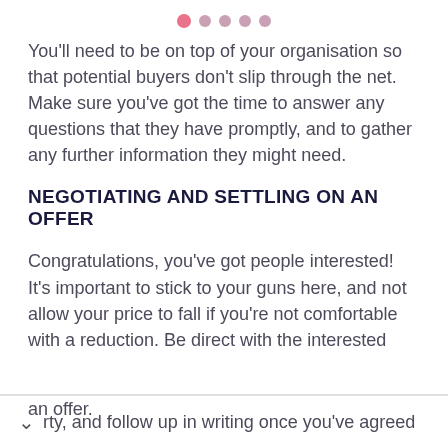● ● ● ● ●
You'll need to be on top of your organisation so that potential buyers don't slip through the net. Make sure you've got the time to answer any questions that they have promptly, and to gather any further information they might need.
NEGOTIATING AND SETTLING ON AN OFFER
Congratulations, you've got people interested! It's important to stick to your guns here, and not allow your price to fall if you're not comfortable with a reduction. Be direct with the interested party, and follow up in writing once you've agreed an offer.